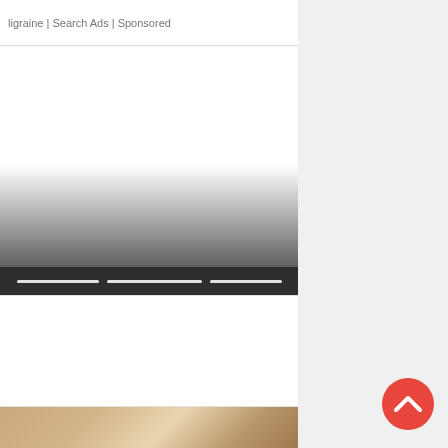ligraine | Search Ads | Sponsored
[Figure (screenshot): Video player block with white top area fading to dark gray gradient at bottom, with three white progress bar segments in a dark bottom bar]
[Figure (photo): Partial photo showing a warm-toned interior scene with shelving or store display, partially visible]
[Figure (other): Red circular scroll-to-top button with white chevron/arrow pointing upward, positioned in the lower right area]